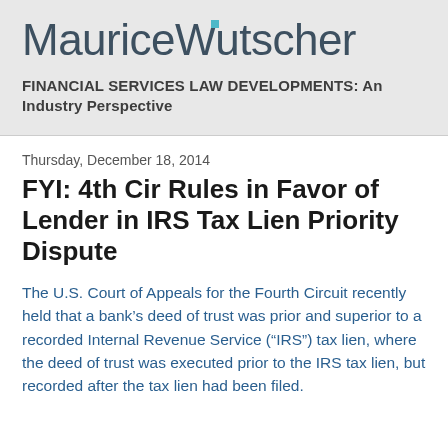[Figure (logo): MauriceWutscher law firm logo with teal/cyan square dot accent above the letter 'i']
FINANCIAL SERVICES LAW DEVELOPMENTS: An Industry Perspective
Thursday, December 18, 2014
FYI: 4th Cir Rules in Favor of Lender in IRS Tax Lien Priority Dispute
The U.S. Court of Appeals for the Fourth Circuit recently held that a bank's deed of trust was prior and superior to a recorded Internal Revenue Service (“IRS”) tax lien, where the deed of trust was executed prior to the IRS tax lien, but recorded after the tax lien had been filed.